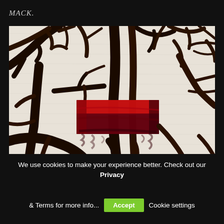MACK.
[Figure (photo): Abstract painting with bold black brushstrokes on white/cream canvas background, with a prominent red/dark red painted rectangle shape in the center-lower area. The black marks radiate outward resembling branches or gestural strokes.]
'from Trails by Takashi Homma. Courtesy the artist and
We use cookies to make your experience better. Check out our Privacy & Terms for more info...
Accept   Cookie settings